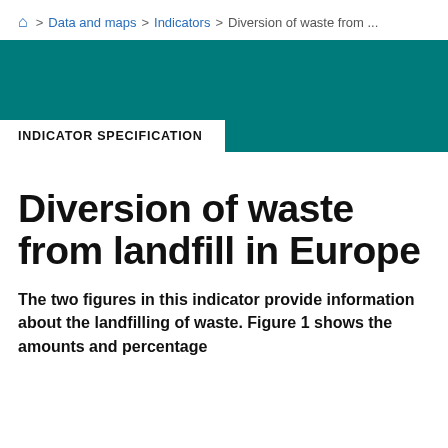🏠 > Data and maps > Indicators > Diversion of waste from ...
[Figure (other): Teal/dark green banner with 'INDICATOR SPECIFICATION' label box in bottom-left corner]
Diversion of waste from landfill in Europe
The two figures in this indicator provide information about the landfilling of waste. Figure 1 shows the amounts and percentage